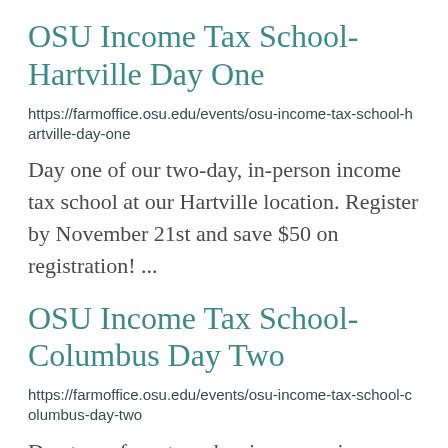OSU Income Tax School- Hartville Day One
https://farmoffice.osu.edu/events/osu-income-tax-school-hartville-day-one
Day one of our two-day, in-person income tax school at our Hartville location. Register by November 21st and save $50 on registration! ...
OSU Income Tax School- Columbus Day Two
https://farmoffice.osu.edu/events/osu-income-tax-school-columbus-day-two
Day two of our two-day, in-person income tax school at our Columbus location